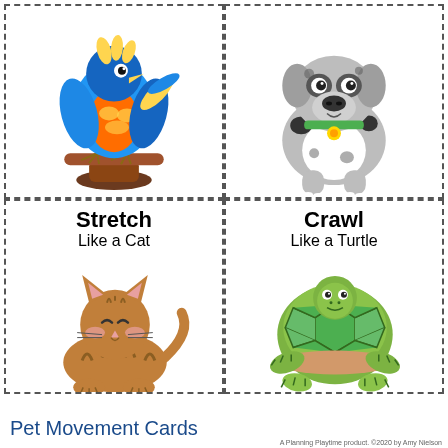[Figure (illustration): Colorful cartoon bird (blue, orange, yellow) perched on a wooden perch on a brown base]
[Figure (illustration): Cartoon Dalmatian dog sitting, gray/white with black spots, wearing a green collar with a gold tag]
[Figure (illustration): Card with text 'Stretch Like a Cat' and a cartoon orange tabby cat sitting]
[Figure (illustration): Card with text 'Crawl Like a Turtle' and a cartoon green turtle]
A Planning Playtime product. ©2020 by Amy Nielson
Pet Movement Cards